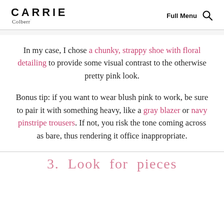CARRIE Colberr · Full Menu 🔍
In my case, I chose a chunky, strappy shoe with floral detailing to provide some visual contrast to the otherwise pretty pink look.
Bonus tip: if you want to wear blush pink to work, be sure to pair it with something heavy, like a gray blazer or navy pinstripe trousers. If not, you risk the tone coming across as bare, thus rendering it office inappropriate.
3.  Look  for  pieces